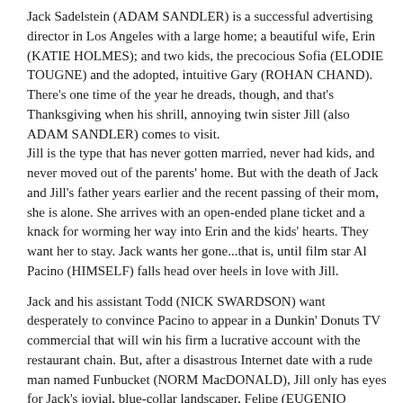Jack Sadelstein (ADAM SANDLER) is a successful advertising director in Los Angeles with a large home; a beautiful wife, Erin (KATIE HOLMES); and two kids, the precocious Sofia (ELODIE TOUGNE) and the adopted, intuitive Gary (ROHAN CHAND). There's one time of the year he dreads, though, and that's Thanksgiving when his shrill, annoying twin sister Jill (also ADAM SANDLER) comes to visit. Jill is the type that has never gotten married, never had kids, and never moved out of the parents' home. But with the death of Jack and Jill's father years earlier and the recent passing of their mom, she is alone. She arrives with an open-ended plane ticket and a knack for worming her way into Erin and the kids' hearts. They want her to stay. Jack wants her gone...that is, until film star Al Pacino (HIMSELF) falls head over heels in love with Jill.
Jack and his assistant Todd (NICK SWARDSON) want desperately to convince Pacino to appear in a Dunkin' Donuts TV commercial that will win his firm a lucrative account with the restaurant chain. But, after a disastrous Internet date with a rude man named Funbucket (NORM MacDONALD), Jill only has eyes for Jack's jovial, blue-collar landscaper, Felipe (EUGENIO DERBEZ). Jack goes to increasingly desperate lengths to bring Jill and the borderline demented Pacino together, even donning his sister's